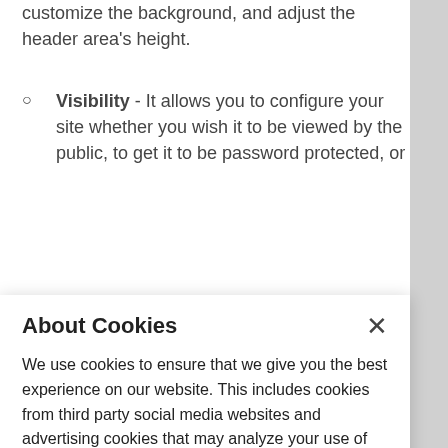customize the background, and adjust the header area's height.
Visibility - It allows you to configure your site whether you wish it to be viewed by the public, to get it to be password protected, or
About Cookies
We use cookies to ensure that we give you the best experience on our website. This includes cookies from third party social media websites and advertising cookies that may analyze your use of this site. Click "Got it" to agree or "Cookie Settings" to opt out.
Cookie Notice
Got It
Cookies Settings